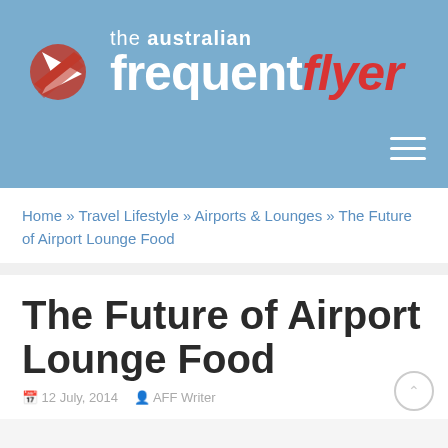the australian frequent flyer
Home » Travel Lifestyle » Airports & Lounges » The Future of Airport Lounge Food
The Future of Airport Lounge Food
12 July, 2014  AFF Writer